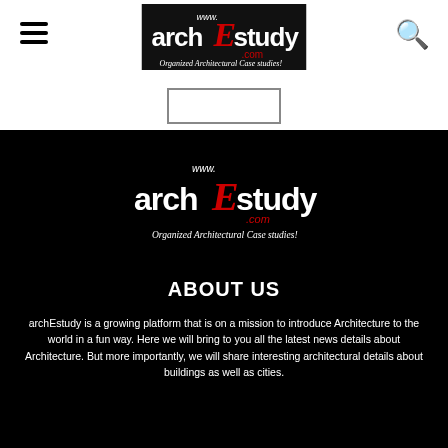[Figure (logo): archEstudy.com logo — Organized Architectural Case studies! — top navigation bar]
[Figure (logo): archEstudy.com logo — Organized Architectural Case studies! — large version on black background]
ABOUT US
archEstudy is a growing platform that is on a mission to introduce Architecture to the world in a fun way. Here we will bring to you all the latest news details about Architecture. But more importantly, we will share interesting architectural details about buildings as well as cities.